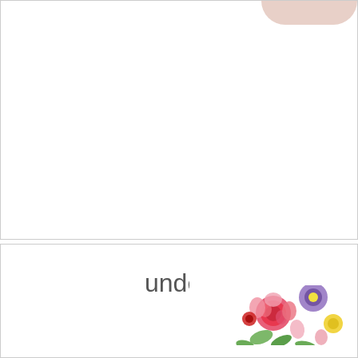[Figure (photo): Partial view of a catalog page showing the bottom of a person/product image, mostly white space, within a bordered section.]
under 100 p
[Figure (photo): Partial view of a floral-patterned item (white background with colorful pink, red, yellow, and purple flowers) in the bottom right of the lower bordered section.]